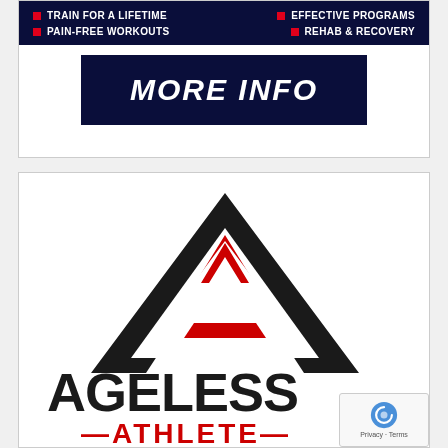[Figure (infographic): Dark navy banner with bullet points: TRAIN FOR A LIFETIME, PAIN-FREE WORKOUTS, EFFECTIVE PROGRAMS, REHAB & RECOVERY with red square bullets, and a MORE INFO dark navy button below]
[Figure (logo): Ageless Athlete logo: large black triangle with red inner A shape forming a stylized 'A' icon, with AGELESS text in bold black and ATHLETE in red below with decorative dashes]